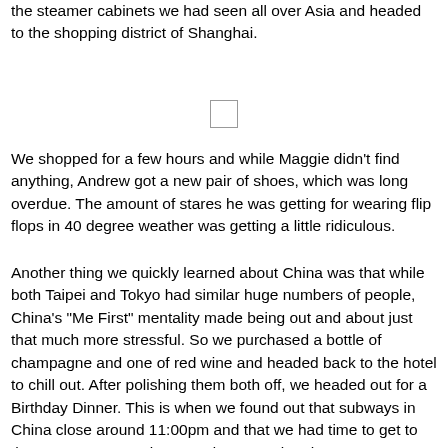the steamer cabinets we had seen all over Asia and headed to the shopping district of Shanghai.
[Figure (other): Small placeholder image/thumbnail icon]
We shopped for a few hours and while Maggie didn't find anything, Andrew got a new pair of shoes, which was long overdue. The amount of stares he was getting for wearing flip flops in 40 degree weather was getting a little ridiculous.
Another thing we quickly learned about China was that while both Taipei and Tokyo had similar huge numbers of people, China's "Me First" mentality made being out and about just that much more stressful. So we purchased a bottle of champagne and one of red wine and headed back to the hotel to chill out. After polishing them both off, we headed out for a Birthday Dinner. This is when we found out that subways in China close around 11:00pm and that we had time to get to the restaurant Maggie wanted to go to, but there was no way we were catching the subway back, and it wasn't close. So we found the only thing still open in our neighborhood--a little pastry shop--and bought some savory